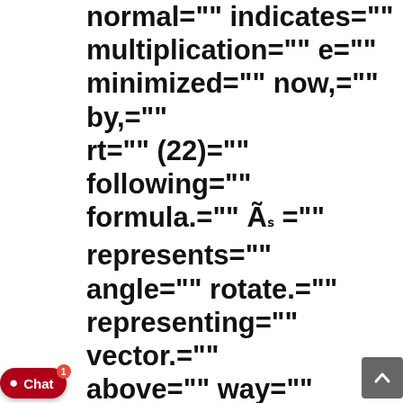normal="" indicates="" multiplication="" e="" minimized="" now,="" by,="" rt="" (22)="" following="" formula.="" Ã¸ ="" represents="" angle="" rotate.="" representing="" vector.="" above="" way="" rectify="" improper="" determined="" ying="" needs="" '" given="" direction="" "" finally,="" produced="" atches="" featureless="" :"" iteration="" carried g="" ut="" icp.="" general,="" step–
[Figure (screenshot): Chat widget overlay showing 'Welcome to our site, if you need help simply reply to this message, we are online and ready to help.' with avatar, Write a message input bar, and a red Chat button with badge.]